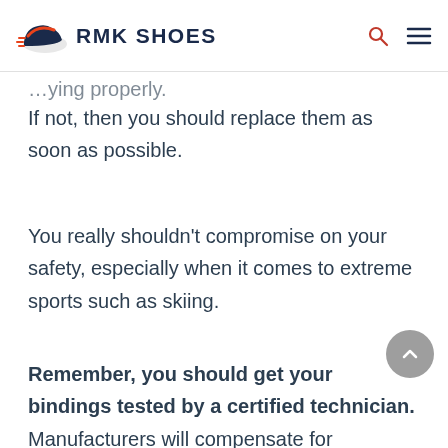RMK SHOES
If not, then you should replace them as soon as possible.
You really shouldn't compromise on your safety, especially when it comes to extreme sports such as skiing.
Remember, you should get your bindings tested by a certified technician. Manufacturers will compensate for damaged bindings, but you'll need to get them tested by a